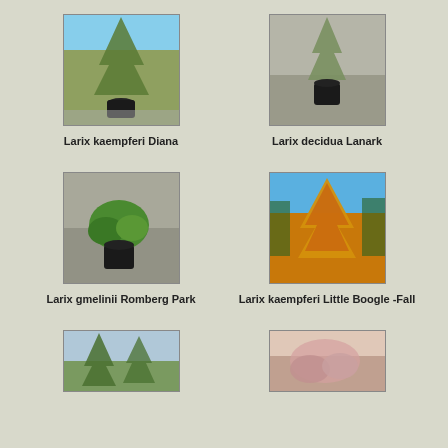[Figure (photo): Larix kaempferi Diana - tall conifer tree in black pot on gravel, nursery setting with blue sky]
Larix kaempferi Diana
[Figure (photo): Larix decidua Lanark - slender conifer in black pot on gravel surface]
Larix decidua Lanark
[Figure (photo): Larix gmelinii Romberg Park - compact bushy conifer in black pot on gravel]
Larix gmelinii Romberg Park
[Figure (photo): Larix kaempferi Little Boogle Fall - golden orange fall color conifer against blue sky]
Larix kaempferi Little Boogle -Fall
[Figure (photo): Partial view of conifer in nursery setting - bottom left]
[Figure (photo): Partial view of plant - bottom right]